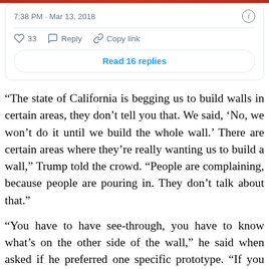[Figure (screenshot): Top edge of a social media post image (cropped)]
7:38 PM · Mar 13, 2018
33  Reply  Copy link
Read 16 replies
“The state of California is begging us to build walls in certain areas, they don’t tell you that. We said, ‘No, we won’t do it until we build the whole wall.’ There are certain areas where they’re really wanting us to build a wall,” Trump told the crowd. “People are complaining, because people are pouring in. They don’t talk about that.”
“You have to have see-through, you have to know what’s on the other side of the wall,” he said when asked if he preferred one specific prototype. “If you don’t know what’s on the other side of the wall, you could be in for a f…